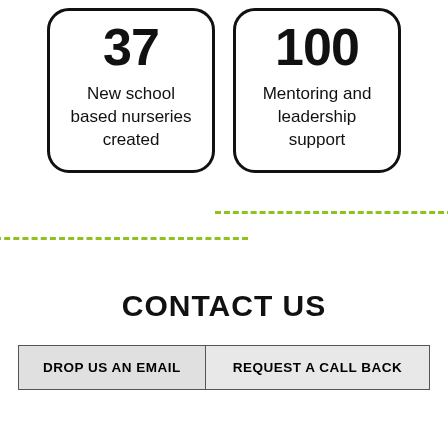[Figure (infographic): Two stat cards side by side: left card shows '37' with label 'New school based nurseries created'; right card shows '100' with label 'Mentoring and leadership support']
[Figure (other): Two green dashed horizontal lines arranged in a wave/offset pattern]
CONTACT US
| DROP US AN EMAIL | REQUEST A CALL BACK |
| --- | --- |